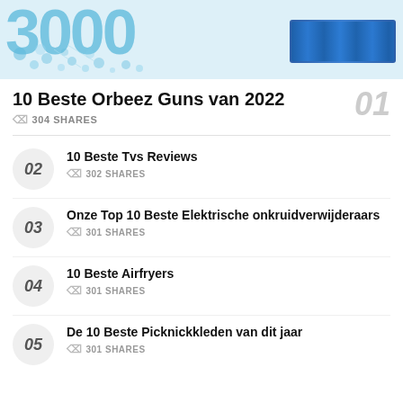[Figure (illustration): Top banner image showing decorative blue Orbeez balls and the number 3000 in blue dotted font, with blue product packets on the right side]
10 Beste Orbeez Guns van 2022
304 SHARES
10 Beste Tvs Reviews
302 SHARES
Onze Top 10 Beste Elektrische onkruidverwijderaars
301 SHARES
10 Beste Airfryers
301 SHARES
De 10 Beste Picknickkleden van dit jaar
301 SHARES